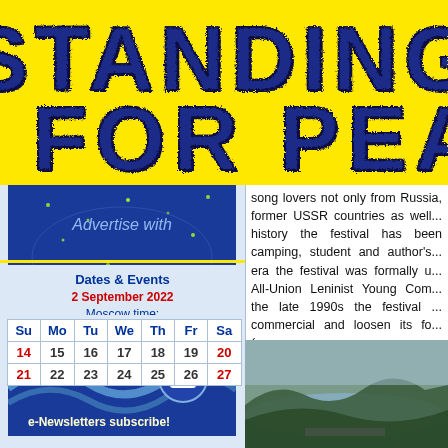STANDING FOR PEACE
song lovers not only from Russia, former USSR countries as well... history the festival has been camping, student and author's... era the festival was formally u... All-Union Leninist Young Com... the late 1990s the festival ... commercial and loosen its fo... (ссылка на авторскую песню
[Figure (illustration): Blue advertisement banner with world map stars - Advertise with Russia.ru]
[Figure (illustration): e-Newsletters subscribe banner with blue wave and email icon]
Dates & Events
2 September 2022
Moscow time:
| Su | Mo | Tu | We | Th | Fr | Sa |
| --- | --- | --- | --- | --- | --- | --- |
| 14 | 15 | 16 | 17 | 18 | 19 | 20 |
| 21 | 22 | 23 | 24 | 25 | 26 | 27 |
[Figure (photo): Panoramic landscape photo showing a lake or bay surrounded by forested hills with tents/crowd in distance]